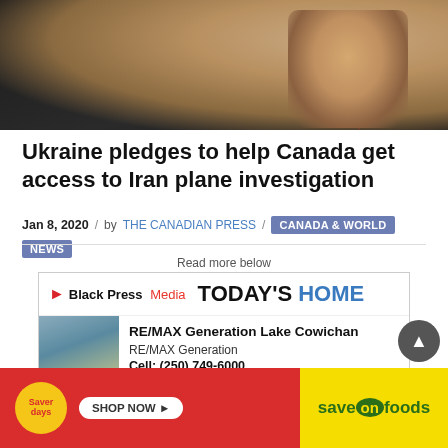[Figure (photo): Close-up photo of a person in a dark suit and red tie, profile view, dark background]
Ukraine pledges to help Canada get access to Iran plane investigation
Jan 8, 2020 / by THE CANADIAN PRESS / CANADA & WORLD NEWS
Read more below
[Figure (infographic): Black Press Media TODAY'S HOME advertisement featuring RE/MAX Generation Lake Cowichan listing, Cell: (250) 749-6000]
[Figure (infographic): Saver days SHOP NOW Save On Foods advertisement banner]